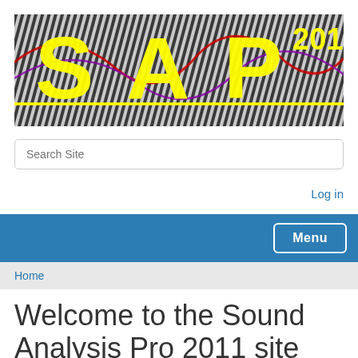[Figure (screenshot): SAP 2011 banner logo with large yellow letters 'SAP' and '2011' overlaid on a black-and-white striped background with colorful outlines]
Search Site
Log in
Menu
Home
Welcome to the Sound Analysis Pro 2011 site 2011